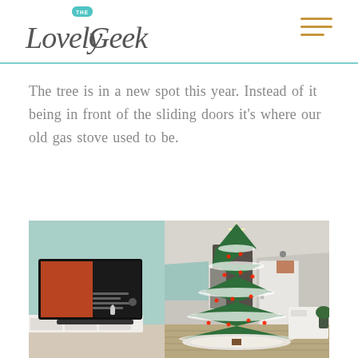The Lovely Geek
The tree is in a new spot this year. Instead of it being in front of the sliding doors it’s where our old gas stove used to be.
[Figure (photo): Two side-by-side interior photos: left shows a living room with a wall-mounted TV on a mint green wall with a white TV console; right shows a decorated Christmas tree with lights and snow-flocked branches in a room with gray walls and hardwood floors, with a doorway and white furniture visible.]